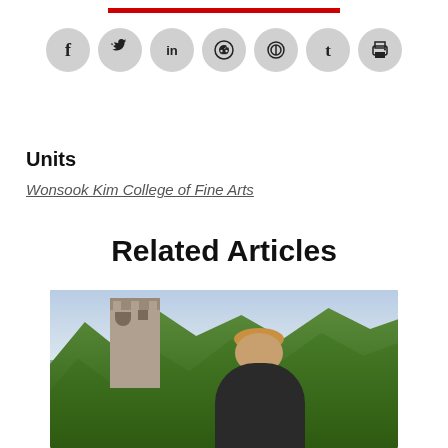[Figure (other): Red horizontal divider bar]
[Figure (infographic): Social media sharing icons: Facebook, Twitter, LinkedIn, Reddit, Pinterest, Tumblr, Print]
Units
Wonsook Kim College of Fine Arts
Related Articles
[Figure (photo): Outdoor photo showing a person with curly/wavy hair in a dark shirt looking down, with a castle tower and green trees in the background against a partly cloudy sky]